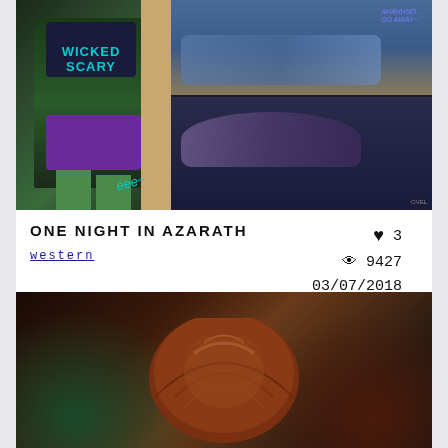[Figure (illustration): Comic book style illustration showing two panels: left panel shows a green-skinned character in a 'Wicked Scary' shirt and purple shorts standing in a doorway; right panels show an anime-style character with purple hair lying down, with speech bubbles in purple/blue text]
ONE NIGHT IN AZARATH
western
♥ 3
👁 9427
03/07/2018
[Figure (illustration): 3D rendered illustration showing the back view of a character with red/auburn hair in a bun, dark background with teal/green lighting]